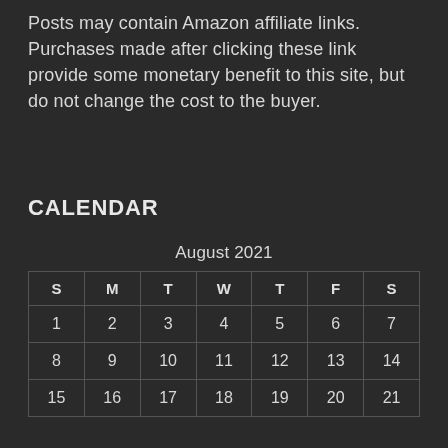Posts may contain Amazon affiliate links. Purchases made after clicking these link provide some monetary benefit to this site, but do not change the cost to the buyer.
CALENDAR
| S | M | T | W | T | F | S |
| --- | --- | --- | --- | --- | --- | --- |
| 1 | 2 | 3 | 4 | 5 | 6 | 7 |
| 8 | 9 | 10 | 11 | 12 | 13 | 14 |
| 15 | 16 | 17 | 18 | 19 | 20 | 21 |